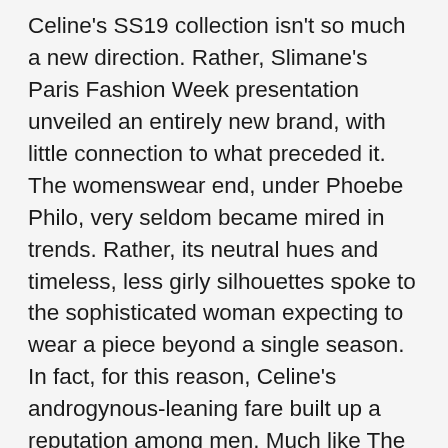Celine's SS19 collection isn't so much a new direction. Rather, Slimane's Paris Fashion Week presentation unveiled an entirely new brand, with little connection to what preceded it. The womenswear end, under Phoebe Philo, very seldom became mired in trends. Rather, its neutral hues and timeless, less girly silhouettes spoke to the sophisticated woman expecting to wear a piece beyond a single season. In fact, for this reason, Celine's androgynous-leaning fare built up a reputation among men. Much like The Row's approach, a ready-to-wear men's line seemed like a natural step forward. But, its unveiling coincides with Slimane's total upheaval, and thus, the menswear collection doesn't fully feel like an extension of Celine. Instead, it's simply Slimane doing what he does best, essentially giving us an upgraded, more